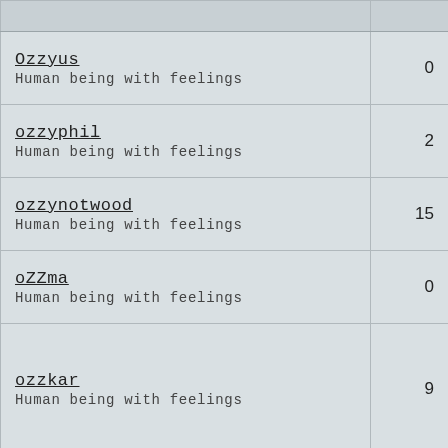| Username / Description | Count |
| --- | --- |
| Ozzyus
Human being with feelings | 0 |
| ozzyphil
Human being with feelings | 2 |
| ozzynotwood
Human being with feelings | 15 |
| oZZma
Human being with feelings | 0 |
| ozzkar
Human being with feelings | 9 |
| ozzie987
Human being with feelings | 1 |
| OZZ75
Human being with feelings | 1 |